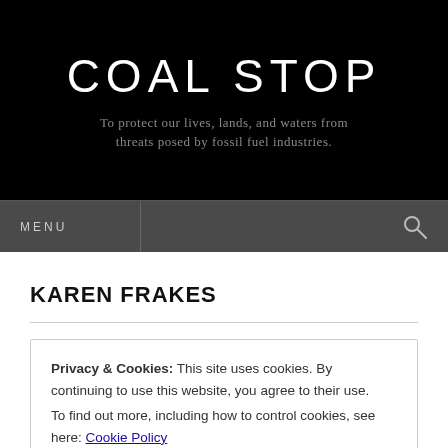COAL STOP
To protect our lives, lands, and waters from threats posed by fossil fuel industries.
MENU
KAREN FRAKES
Privacy & Cookies: This site uses cookies. By continuing to use this website, you agree to their use.
To find out more, including how to control cookies, see here: Cookie Policy
Close and accept